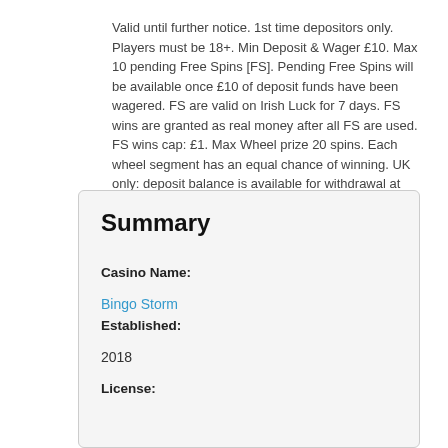Valid until further notice. 1st time depositors only. Players must be 18+. Min Deposit & Wager £10. Max 10 pending Free Spins [FS]. Pending Free Spins will be available once £10 of deposit funds have been wagered. FS are valid on Irish Luck for 7 days. FS wins are granted as real money after all FS are used. FS wins cap: £1. Max Wheel prize 20 spins. Each wheel segment has an equal chance of winning. UK only: deposit balance is available for withdrawal at any time. General withdrawal restrictions and Full T&Cs apply. BeGambleAware.
Summary
Casino Name:
Bingo Storm
Established:
2018
License: